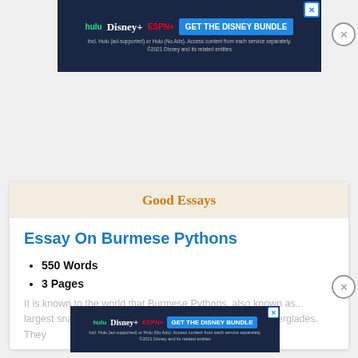[Figure (other): Disney Bundle advertisement banner (Hulu, Disney+, ESPN+) with blue background and GET THE DISNEY BUNDLE button]
Good Essays
Essay On Burmese Pythons
550 Words
3 Pages
It is known to the world that Burmese Pythons, also known as... largest snakes... snake are now a reality in the Florida Everglades. They
[Figure (other): Disney Bundle advertisement banner (Hulu, Disney+, ESPN+) with blue background and GET THE DISNEY BUNDLE button, smaller version]